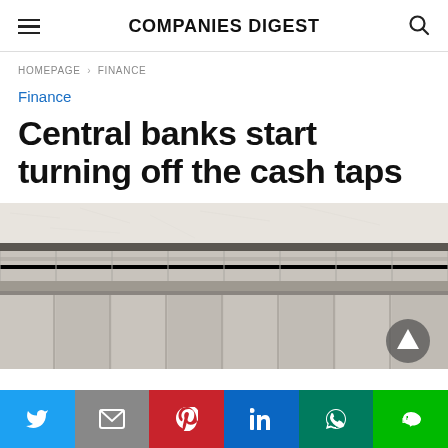COMPANIES DIGEST
HOMEPAGE › FINANCE
Finance
Central banks start turning off the cash taps
[Figure (photo): Photograph of the exterior facade of a neoclassical stone building, showing ornate horizontal stone friezes and columns, likely a central bank or government building.]
Social share bar: Twitter, Gmail, Pinterest, LinkedIn, WhatsApp, Line